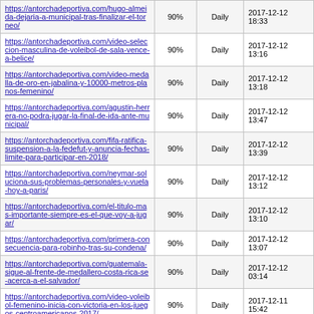| URL | Priority | Change Frequency | Last Modified |
| --- | --- | --- | --- |
| https://antorchadeportiva.com/hugo-almeida-dejaria-a-municipal-tras-finalizar-el-torneo/ | 90% | Daily | 2017-12-12 18:33 |
| https://antorchadeportiva.com/video-seleccion-masculina-de-voleibol-de-sala-vence-a-belice/ | 90% | Daily | 2017-12-12 13:16 |
| https://antorchadeportiva.com/video-medalla-de-oro-en-jabalina-y-10000-metros-planos-femenino/ | 90% | Daily | 2017-12-12 13:18 |
| https://antorchadeportiva.com/agustin-herrera-no-podra-jugar-la-final-de-ida-ante-municipal/ | 90% | Daily | 2017-12-12 13:47 |
| https://antorchadeportiva.com/fifa-ratifica-suspension-a-la-fedefut-y-anuncia-fechas-limite-para-participar-en-2018/ | 90% | Daily | 2017-12-12 13:39 |
| https://antorchadeportiva.com/neymar-soluciona-sus-problemas-personales-y-vuela-hoy-a-paris/ | 90% | Daily | 2017-12-12 13:12 |
| https://antorchadeportiva.com/el-titulo-mas-importante-siempre-es-el-que-voy-a-jugar/ | 90% | Daily | 2017-12-12 13:10 |
| https://antorchadeportiva.com/primera-consecuencia-para-robinho-tras-su-condena/ | 90% | Daily | 2017-12-12 13:07 |
| https://antorchadeportiva.com/guatemala-sigue-al-frente-de-medallero-costa-rica-se-acerca-a-el-salvador/ | 90% | Daily | 2017-12-12 03:14 |
| https://antorchadeportiva.com/video-voleibol-femenino-inicia-con-victoria-en-los-juegos-centroamericanos-2017/ | 90% | Daily | 2017-12-11 15:42 |
| https://antorchadeportiva.com/programacion-de-la-final-del-torneo-apertura-2017/ | 90% | Daily | 2017-12-11 15:57 |